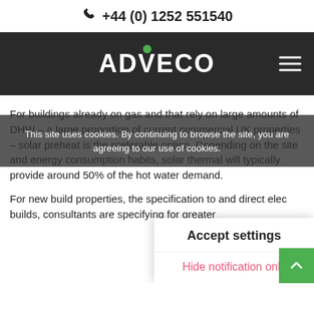+44 (0) 1252 551540
[Figure (logo): ADVECO logo in white on dark background]
For buildings already on gas and that rely on large amounts of DHW – a large proportion of current commercial UK properties – solar preheat is the preferable option. Depending on the site and energy consumption habits, solar thermal will typically provide around 50% of the hot water demand.
For new build properties, the specification to and direct elec builds, consultants are specifying for greater
This site uses cookies. By continuing to browse the site, you are agreeing to our use of cookies.
Accept settings
Hide notification only